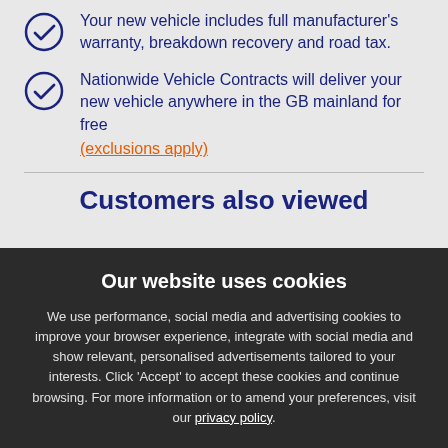Your new vehicle includes full manufacturer's warranty, breakdown recovery and road tax.
Nationwide Vehicle Contracts will deliver your new vehicle anywhere in the GB mainland for free (exclusions apply)
Customers also viewed
Our website uses cookies
We use performance, social media and advertising cookies to improve your browser experience, integrate with social media and show relevant, personalised advertisements tailored to your interests. Click 'Accept' to accept these cookies and continue browsing. For more information or to amend your preferences, visit our privacy policy.
£519.76 BUSINESS PRICE MONTHLY+VAT
Change Settings
✓ ACCEPT